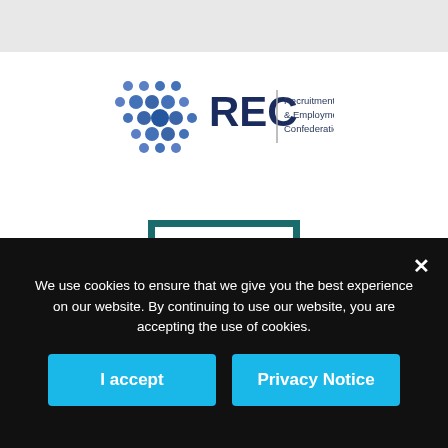[Figure (logo): REC - Recruitment & Employment Confederation logo with blue dot grid pattern and text]
[Figure (logo): IMI EST'd 1920 logo in teal square border]
[Figure (logo): Partial view of Sunday Times FAST logo]
We use cookies to ensure that we give you the best experience on our website. By continuing to use our website, you are accepting the use of cookies.
I accept
Privacy Notice